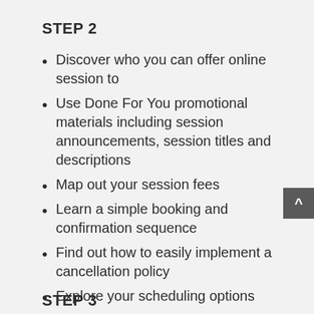STEP 2
Discover who you can offer online session to
Use Done For You promotional materials including session announcements, session titles and descriptions
Map out your session fees
Learn a simple booking and confirmation sequence
Find out how to easily implement a cancellation policy
Explore your scheduling options
STEP 3